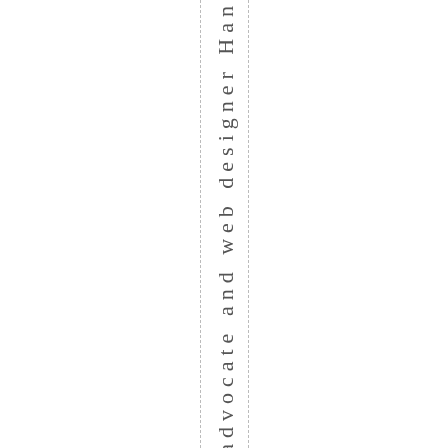artadvocate and web designer Han